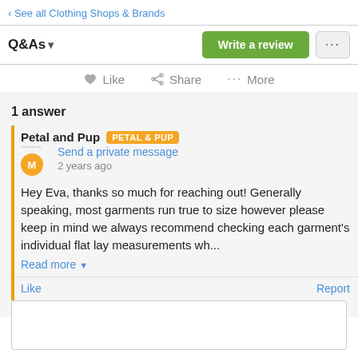‹ See all Clothing Shops & Brands
Q&As ▾
Write a review
···
♥ Like   ⋘ Share   ··· More
1 answer
Petal and Pup  PETAL & PUP
Send a private message
2 years ago
Hey Eva, thanks so much for reaching out! Generally speaking, most garments run true to size however please keep in mind we always recommend checking each garment's individual flat lay measurements wh...
Read more ▾
Like
Report